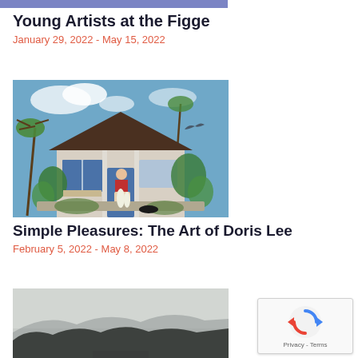[Figure (illustration): Blue/purple horizontal banner strip at top of page]
Young Artists at the Figge
January 29, 2022 - May 15, 2022
[Figure (photo): Painting of a white cottage with blue shutters, a woman in a red top and white skirt standing on the porch, surrounded by lush tropical greenery, palm trees, and a bird in flight against a blue sky — artwork by Doris Lee]
Simple Pleasures: The Art of Doris Lee
February 5, 2022 - May 8, 2022
[Figure (photo): Misty landscape photograph showing dark mountain silhouettes under a grey foggy sky]